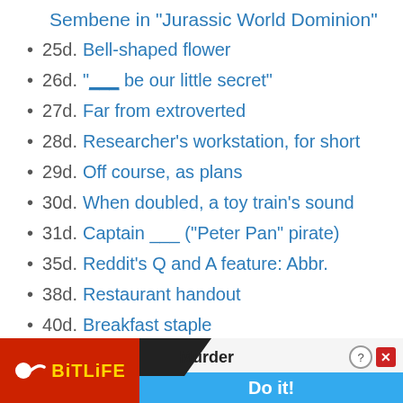Sembene in "Jurassic World Dominion"
25d. Bell-shaped flower
26d. "___ be our little secret"
27d. Far from extroverted
28d. Researcher's workstation, for short
29d. Off course, as plans
30d. When doubled, a toy train's sound
31d. Captain ___ ("Peter Pan" pirate)
35d. Reddit's Q and A feature: Abbr.
38d. Restaurant handout
40d. Breakfast staple
42d. Like some cannons or change
[Figure (screenshot): BitLife advertisement banner with red background showing sperm logo, 'BitLife' in yellow text, a diagonal slash graphic, 'Murder' in black text, help and close icons, and a blue 'Do it!' button]